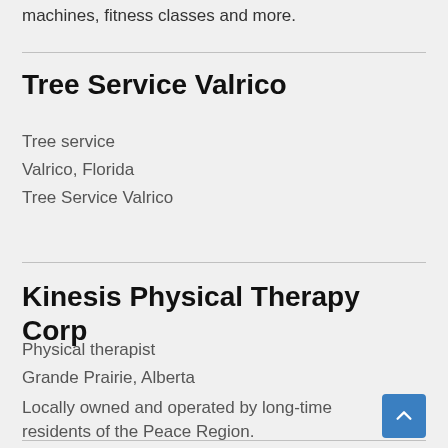machines, fitness classes and more.
Tree Service Valrico
Tree service
Valrico, Florida
Tree Service Valrico
Kinesis Physical Therapy Corp
Physical therapist
Grande Prairie, Alberta
Locally owned and operated by long-time residents of the Peace Region.